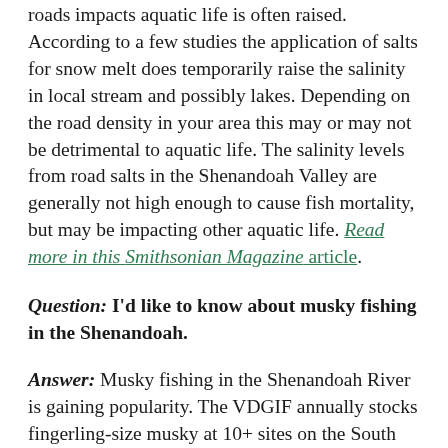roads impacts aquatic life is often raised. According to a few studies the application of salts for snow melt does temporarily raise the salinity in local stream and possibly lakes. Depending on the road density in your area this may or may not be detrimental to aquatic life. The salinity levels from road salts in the Shenandoah Valley are generally not high enough to cause fish mortality, but may be impacting other aquatic life. Read more in this Smithsonian Magazine article.
Question: I'd like to know about musky fishing in the Shenandoah.
Answer: Musky fishing in the Shenandoah River is gaining popularity. The VDGIF annually stocks fingerling-size musky at 10+ sites on the South Fork